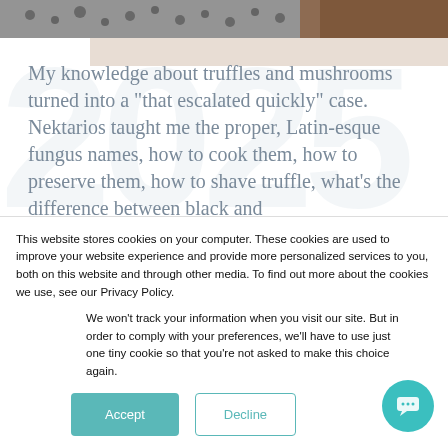[Figure (photo): Close-up photo of metallic/silver objects (possibly mushrooms or metal components) at the top of the page]
My knowledge about truffles and mushrooms turned into a "that escalated quickly" case. Nektarios taught me the proper, Latin-esque fungus names, how to cook them, how to preserve them, how to shave truffle, what's the difference between black and
This website stores cookies on your computer. These cookies are used to improve your website experience and provide more personalized services to you, both on this website and through other media. To find out more about the cookies we use, see our Privacy Policy.
We won't track your information when you visit our site. But in order to comply with your preferences, we'll have to use just one tiny cookie so that you're not asked to make this choice again.
Accept
Decline